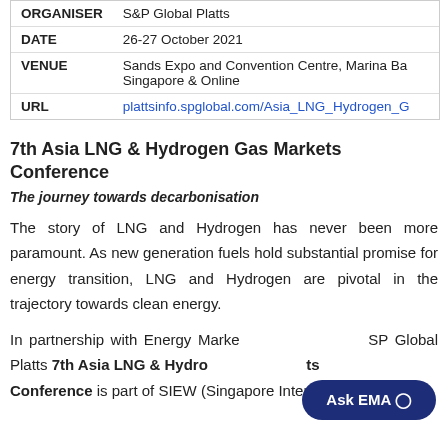| ORGANISER | S&P Global Platts |
| DATE | 26-27 October 2021 |
| VENUE | Sands Expo and Convention Centre, Marina Ba... Singapore & Online |
| URL | plattsinfo.spglobal.com/Asia_LNG_Hydrogen_G... |
7th Asia LNG & Hydrogen Gas Markets Conference
The journey towards decarbonisation
The story of LNG and Hydrogen has never been more paramount. As new generation fuels hold substantial promise for energy transition, LNG and Hydrogen are pivotal in the trajectory towards clean energy.
In partnership with Energy Marke... SP Global Platts 7th Asia LNG & Hydro... ts Conference is part of SIEW (Singapore International...